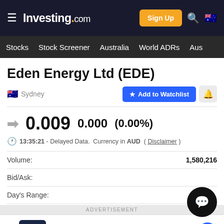Investing.com — Sign Up — Stocks — Stock Screener — Australia — World ADRs — Aus
Eden Energy Ltd (EDE)
Sydney — Add to Watchlist
0.009  0.000  (0.00%)
13:35:21 - Delayed Data.  Currency in AUD  ( Disclaimer )
Volume: 1,580,216
Bid/Ask:
Day's Range:
ADVERTISEMENT
See Cars Your Budget Will Love
CarMax